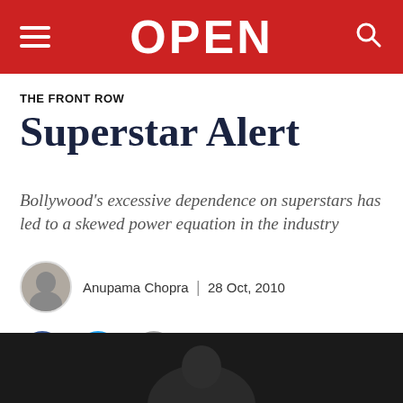OPEN
THE FRONT ROW
Superstar Alert
Bollywood's excessive dependence on superstars has led to a skewed power equation in the industry
Anupama Chopra | 28 Oct, 2010
[Figure (other): Social share buttons: Facebook, Twitter, Email]
[Figure (photo): Dark photograph of a person, partially visible at the bottom of the page]